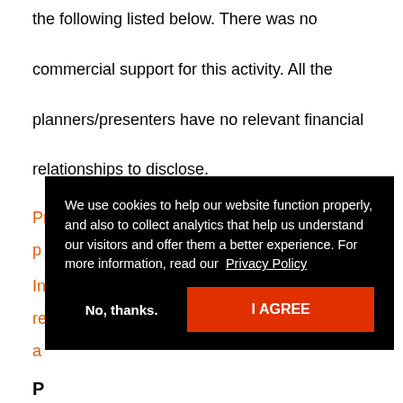the following listed below. There was no commercial support for this activity. All the planners/presenters have no relevant financial relationships to disclose.
Praxis CET maintains responsibility for the p...
In... re... a...
P
None
We use cookies to help our website function properly, and also to collect analytics that help us understand our visitors and offer them a better experience. For more information, read our Privacy Policy